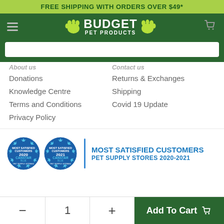FREE SHIPPING WITH ORDERS OVER $49*
[Figure (logo): Budget Pet Products logo with paw prints on dark green background and hamburger menu and cart icons]
About Us
Contact Us
Donations
Returns & Exchanges
Knowledge Centre
Shipping
Terms and Conditions
Covid 19 Update
Privacy Policy
[Figure (logo): Two Canstar Blue Most Satisfied Customers Pet Supply Stores 2020 and 2021 award badges with stars]
MOST SATISFIED CUSTOMERS PET SUPPLY STORES 2020-2021
- 1 + Add To Cart